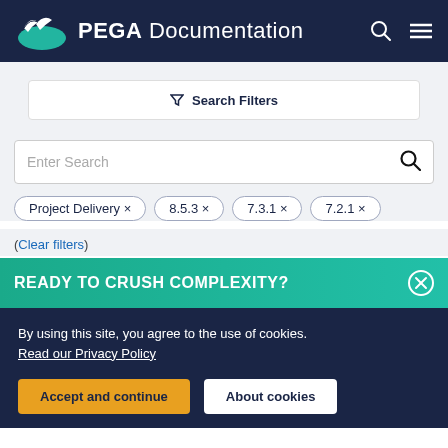PEGA Documentation
Search Filters
Enter Search
Project Delivery ×
8.5.3 ×
7.3.1 ×
7.2.1 ×
(Clear filters)
READY TO CRUSH COMPLEXITY?
By using this site, you agree to the use of cookies. Read our Privacy Policy
Accept and continue
About cookies